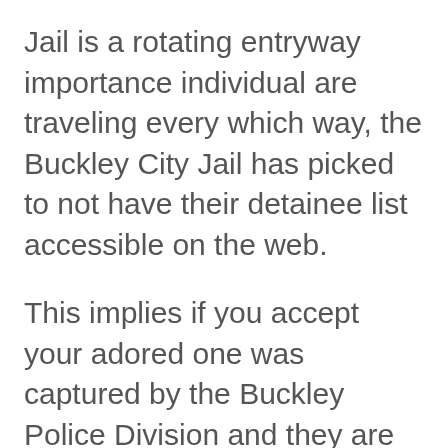Jail is a rotating entryway importance individual are traveling every which way, the Buckley City Jail has picked to not have their detainee list accessible on the web.
This implies if you accept your adored one was captured by the Buckley Police Division and they are right now sitting in the office, you should get in contact with the office to discover all the data. Regardless of whether the detainee was moved out the Buckley